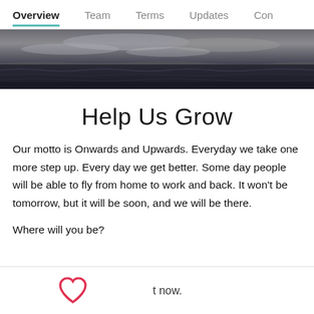Overview   Team   Terms   Updates   Con
[Figure (photo): Aerial or close-up photograph of dark ocean waves with stormy sky, used as a hero banner image]
Help Us Grow
Our motto is Onwards and Upwards. Everyday we take one more step up. Every day we get better. Some day people will be able to fly from home to work and back. It won't be tomorrow, but it will be soon, and we will be there.
Where will you be?
[Figure (illustration): Red/pink heart outline icon (like/favourite button)]
t now.